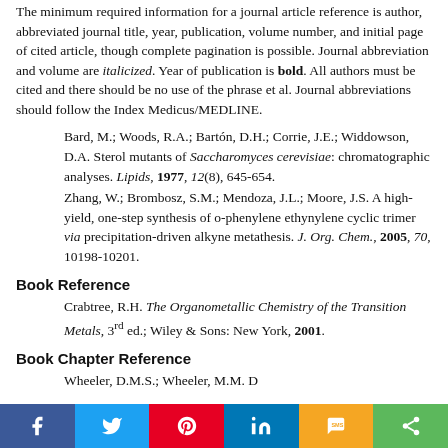The minimum required information for a journal article reference is author, abbreviated journal title, year, publication, volume number, and initial page of cited article, though complete pagination is possible. Journal abbreviation and volume are italicized. Year of publication is bold. All authors must be cited and there should be no use of the phrase et al. Journal abbreviations should follow the Index Medicus/MEDLINE.
Bard, M.; Woods, R.A.; Bartón, D.H.; Corrie, J.E.; Widdowson, D.A. Sterol mutants of Saccharomyces cerevisiae: chromatographic analyses. Lipids, 1977, 12(8), 645-654.
Zhang, W.; Brombosz, S.M.; Mendoza, J.L.; Moore, J.S. A high-yield, one-step synthesis of o-phenylene ethynylene cyclic trimer via precipitation-driven alkyne metathesis. J. Org. Chem., 2005, 70, 10198-10201.
Book Reference
Crabtree, R.H. The Organometallic Chemistry of the Transition Metals, 3rd ed.; Wiley & Sons: New York, 2001.
Book Chapter Reference
Wheeler, D.M.S.; Wheeler, M.M. D...